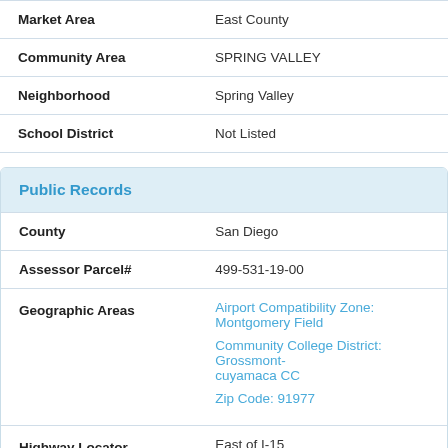| Field | Value |
| --- | --- |
| Market Area | East County |
| Community Area | SPRING VALLEY |
| Neighborhood | Spring Valley |
| School District | Not Listed |
Public Records
| Field | Value |
| --- | --- |
| County | San Diego |
| Assessor Parcel# | 499-531-19-00 |
| Geographic Areas | Airport Compatibility Zone: Montgomery Field
Community College District: Grossmont-cuyamaca CC
Zip Code: 91977 |
| Highway Locator | East of I-15
East of I-5 |